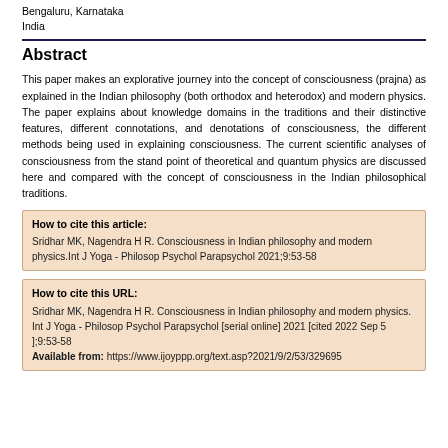Bengaluru, Karnataka
India
Abstract
This paper makes an explorative journey into the concept of consciousness (prajna) as explained in the Indian philosophy (both orthodox and heterodox) and modern physics. The paper explains about knowledge domains in the traditions and their distinctive features, different connotations, and denotations of consciousness, the different methods being used in explaining consciousness. The current scientific analyses of consciousness from the stand point of theoretical and quantum physics are discussed here and compared with the concept of consciousness in the Indian philosophical traditions.
How to cite this article:
Sridhar MK, Nagendra H R. Consciousness in Indian philosophy and modern physics.Int J Yoga - Philosop Psychol Parapsychol 2021;9:53-58
How to cite this URL:
Sridhar MK, Nagendra H R. Consciousness in Indian philosophy and modern physics. Int J Yoga - Philosop Psychol Parapsychol [serial online] 2021 [cited 2022 Sep 5 ];9:53-58
Available from: https://www.ijoyppp.org/text.asp?2021/9/2/53/329695